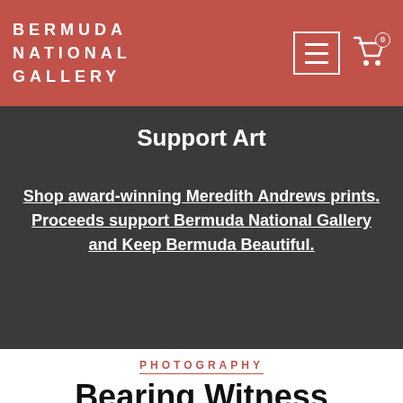BERMUDA NATIONAL GALLERY
Support Art
Shop award-winning Meredith Andrews prints. Proceeds support Bermuda National Gallery and Keep Bermuda Beautiful.
PHOTOGRAPHY
Bearing Witness